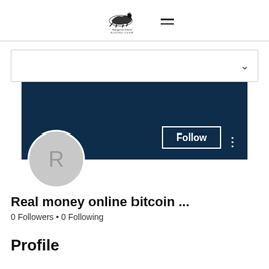[Figure (logo): Kangaroo Island Racing Club logo with horse and jockey silhouette, with hamburger menu icon]
[Figure (screenshot): Dropdown selector bar with chevron arrow]
[Figure (screenshot): Dark navy banner with Follow button and three-dot menu, profile avatar circle with letter R]
Real money online bitcoin ...
0 Followers • 0 Following
Profile